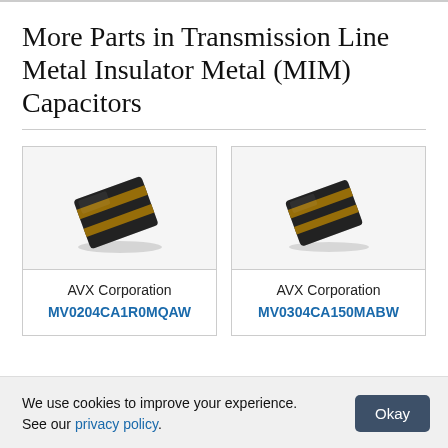More Parts in Transmission Line Metal Insulator Metal (MIM) Capacitors
[Figure (photo): MIM capacitor component photo — small dark square chip with gold stripe, AVX Corporation MV0204CA1R0MQAW]
AVX Corporation
MV0204CA1R0MQAW
[Figure (photo): MIM capacitor component photo — small dark square chip with gold stripe, AVX Corporation MV0304CA150MABW]
AVX Corporation
MV0304CA150MABW
We use cookies to improve your experience. See our privacy policy.